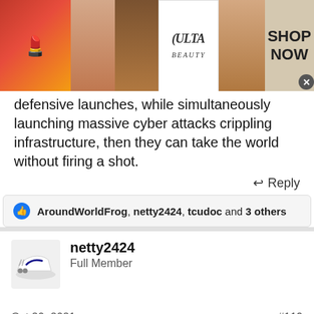[Figure (screenshot): Ulta Beauty advertisement banner with makeup images and 'SHOP NOW' text]
defensive launches, while simultaneously launching massive cyber attacks crippling infrastructure, then they can take the world without firing a shot.
Reply
AroundWorldFrog, netty2424, tcudoc and 3 others
netty2424
Full Member
Oct 20, 2021
#119
[Figure (screenshot): Wayfair.com advertisement - Online Home Store Sale!]